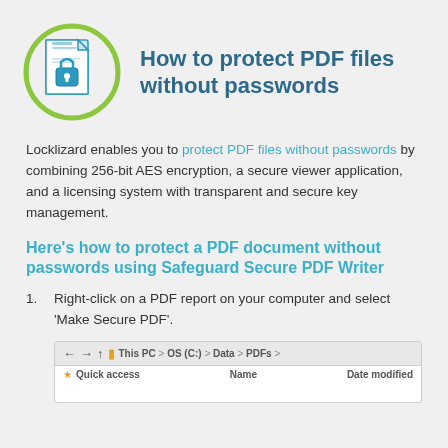[Figure (illustration): A circular icon with a green border containing a blue PDF document with a padlock symbol, representing PDF security.]
How to protect PDF files without passwords
Locklizard enables you to protect PDF files without passwords by combining 256-bit AES encryption, a secure viewer application, and a licensing system with transparent and secure key management.
Here's how to protect a PDF document without passwords using Safeguard Secure PDF Writer
Right-click on a PDF report on your computer and select 'Make Secure PDF'.
[Figure (screenshot): A Windows File Explorer window showing the path: This PC > OS (C:) > Data > PDFs, with Quick access in the left panel and Name and Date modified columns visible.]